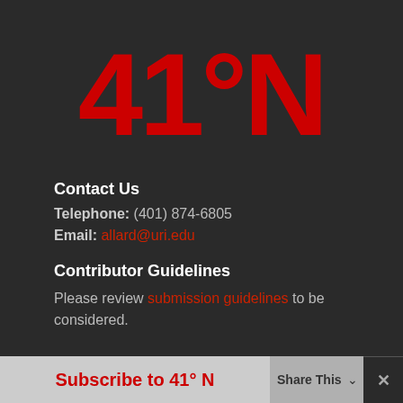[Figure (logo): Large red bold text reading '41°N' — logo for the 41°N publication]
Contact Us
Telephone: (401) 874-6805
Email: allard@uri.edu
Contributor Guidelines
Please review submission guidelines to be considered.
Subscribe to 41° N   Share This  ✕